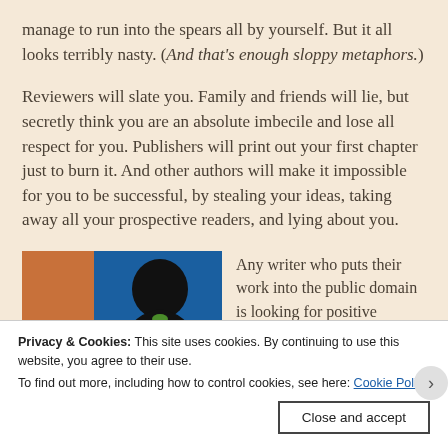manage to run into the spears all by yourself. But it all looks terribly nasty. (And that's enough sloppy metaphors.)
Reviewers will slate you. Family and friends will lie, but secretly think you are an absolute imbecile and lose all respect for you. Publishers will print out your first chapter just to burn it. And other authors will make it impossible for you to be successful, by stealing your ideas, taking away all your prospective readers, and lying about you.
[Figure (illustration): Silhouette of a person's head against a blue background with an orange/brown rectangular block on the left side]
Any writer who puts their work into the public domain is looking for positive
Privacy & Cookies: This site uses cookies. By continuing to use this website, you agree to their use.
To find out more, including how to control cookies, see here: Cookie Policy
Close and accept